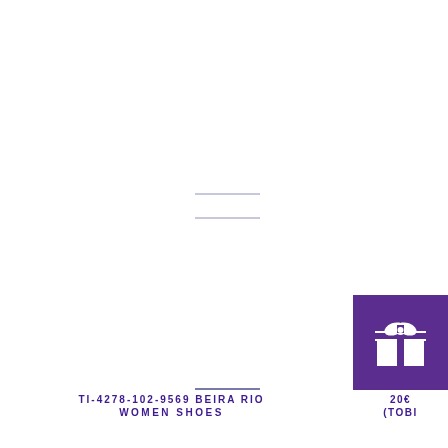[Figure (logo): White background product/brand page with decorative lines and a purple gift box icon in the bottom right corner]
TI-4278-102-9569 BEIRA RIO WOMEN SHOES
206 (TOBI